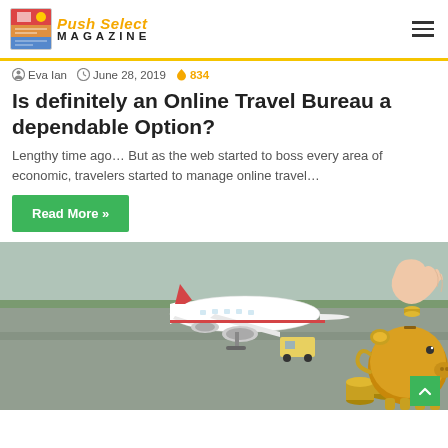Push Select MAGAZINE
Eva Ian  June 28, 2019  834
Is definitely an Online Travel Bureau a dependable Option?
Lengthy time ago… But as the web started to boss every area of economic, travelers started to manage online travel…
Read More »
[Figure (photo): Airport tarmac with a commercial airplane, stacks of coins, and a golden piggy bank with a hand dropping a coin into it]